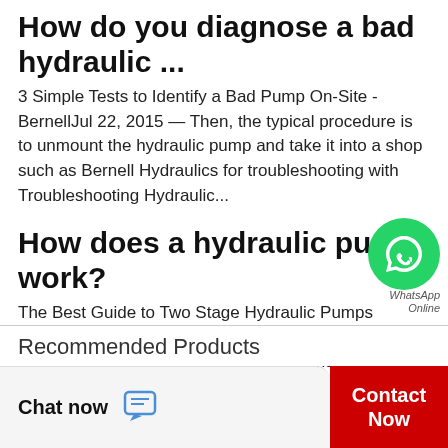How do you diagnose a bad hydraulic ...
3 Simple Tests to Identify a Bad Pump On-Site - BernellJul 22, 2015 — Then, the typical procedure is to unmount the hydraulic pump and take it into a shop such as Bernell Hydraulics for troubleshooting with Troubleshooting Hydraulic...
How does a hydraulic pump work?
[Figure (logo): WhatsApp green circular icon with phone handset, with text 'WhatsApp Online' below]
The Best Guide to Two Stage Hydraulic Pumps MentoredBefore we can see how the two gear pumps work together, we first need to understand how a gear pump works. Gear Pumps. A pump is simply a device that takes  Hydraulic Pump - an...
Recommended Products
Chat now
Contact Now